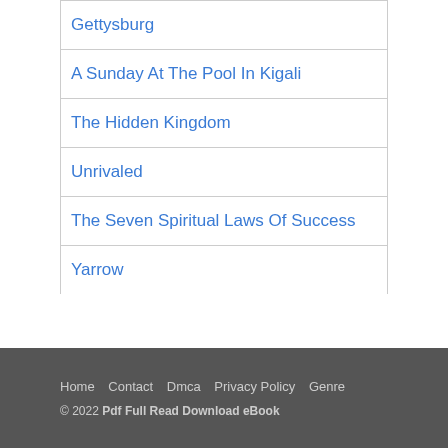Gettysburg
A Sunday At The Pool In Kigali
The Hidden Kingdom
Unrivaled
The Seven Spiritual Laws Of Success
Yarrow
Home  Contact  Dmca  Privacy Policy  Genre
© 2022 Pdf Full Read Download eBook